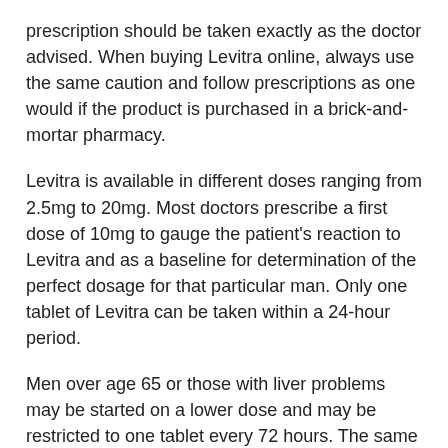prescription should be taken exactly as the doctor advised. When buying Levitra online, always use the same caution and follow prescriptions as one would if the product is purchased in a brick-and-mortar pharmacy.
Levitra is available in different doses ranging from 2.5mg to 20mg. Most doctors prescribe a first dose of 10mg to gauge the patient's reaction to Levitra and as a baseline for determination of the perfect dosage for that particular man. Only one tablet of Levitra can be taken within a 24-hour period.
Men over age 65 or those with liver problems may be started on a lower dose and may be restricted to one tablet every 72 hours. The same is true for people with prostate problems, high blood pressure, men on alpha-blockers or others with potential risk factors.